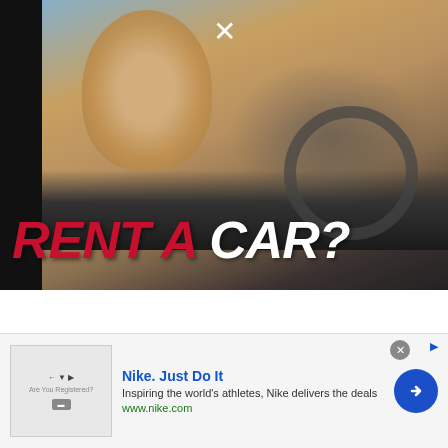[Figure (screenshot): Video thumbnail showing a woman driving a car with overlay text 'RENT A CAR?' in large red and white italic letters, with a close X button at top center, on a dark background.]
[Figure (screenshot): Two video thumbnails side by side. Left shows Las Vegas sign with text 'SHOULD YOU' overlaid, caption 'Should You Rent a C...'. Right shows Las Vegas sign with 'How Much Money To Bring?' text, caption 'How Much Money S...']
Should You Rent a Car in Las Vegas?
You will want to start the process very early before finalizing your trip plans to Vegas, as the embassies/consulates are not known for their speed
[Figure (screenshot): Nike advertisement banner. Shows Nike logo area with 'Are You Registered?' text. Ad text: 'Nike. Just Do It' in blue bold, 'Inspiring the world's athletes, Nike delivers the deals', 'www.nike.com' in green. Blue circle arrow button on right. Close X and sponsored arrow icons at top right.]